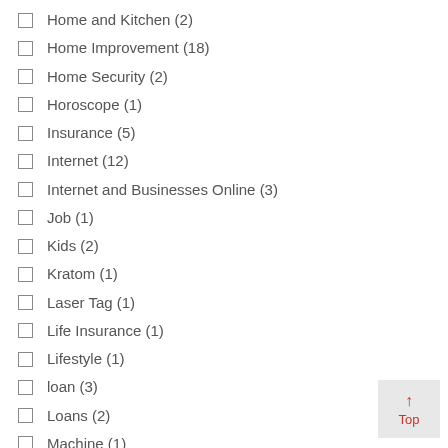Home and Kitchen (2)
Home Improvement (18)
Home Security (2)
Horoscope (1)
Insurance (5)
Internet (12)
Internet and Businesses Online (3)
Job (1)
Kids (2)
Kratom (1)
Laser Tag (1)
Life Insurance (1)
Lifestyle (1)
loan (3)
Loans (2)
Machine (1)